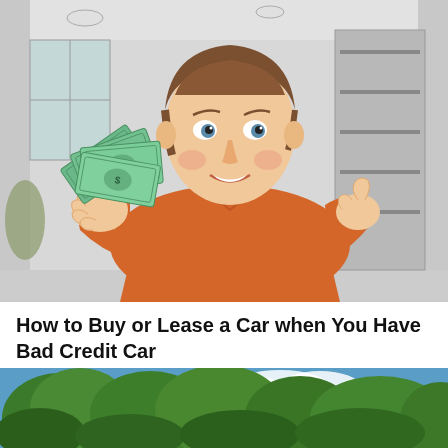[Figure (illustration): Illustration of a smiling woman in an orange shirt holding a fan of green dollar bills in an indoor setting with shelves and windows in the background. WikiHow-style line drawing with color fills.]
How to Buy or Lease a Car when You Have Bad Credit Car
[Figure (photo): Photograph of trees with green foliage against a blue sky, partially visible at the bottom of the page.]